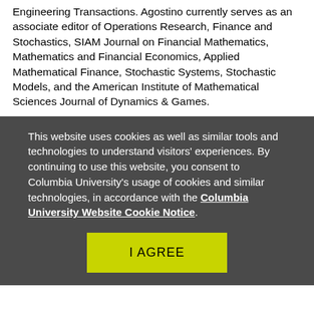Engineering Transactions. Agostino currently serves as an associate editor of Operations Research, Finance and Stochastics, SIAM Journal on Financial Mathematics, Mathematics and Financial Economics, Applied Mathematical Finance, Stochastic Systems, Stochastic Models, and the American Institute of Mathematical Sciences Journal of Dynamics & Games.
This website uses cookies as well as similar tools and technologies to understand visitors' experiences. By continuing to use this website, you consent to Columbia University's usage of cookies and similar technologies, in accordance with the Columbia University Website Cookie Notice.
I AGREE